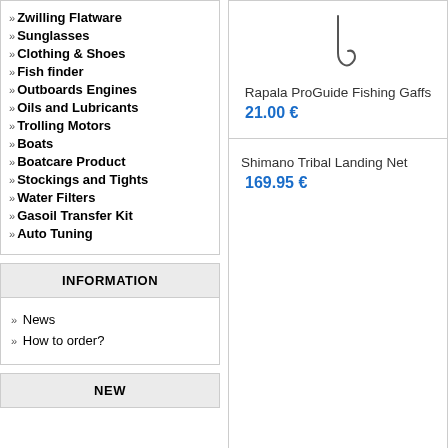» Zwilling Flatware
» Sunglasses
» Clothing & Shoes
» Fish finder
» Outboards Engines
» Oils and Lubricants
» Trolling Motors
» Boats
» Boatcare Product
» Stockings and Tights
» Water Filters
» Gasoil Transfer Kit
» Auto Tuning
INFORMATION
» News
» How to order?
NEW
[Figure (illustration): Rapala ProGuide Fishing Gaffs product image - small outline of a fishing gaff hook]
Rapala ProGuide Fishing Gaffs
21.00 €
Shimano Tribal Landing Net
169.95 €